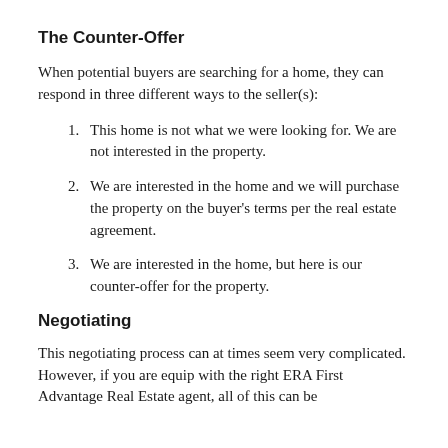The Counter-Offer
When potential buyers are searching for a home, they can respond in three different ways to the seller(s):
This home is not what we were looking for. We are not interested in the property.
We are interested in the home and we will purchase the property on the buyer's terms per the real estate agreement.
We are interested in the home, but here is our counter-offer for the property.
Negotiating
This negotiating process can at times seem very complicated. However, if you are equip with the right ERA First Advantage Real Estate agent, all of this can be